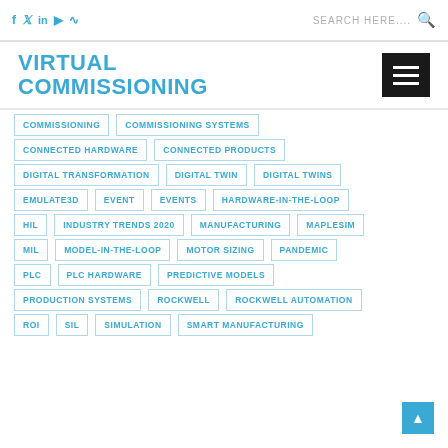Social icons: f, Twitter, in, YouTube, RSS | SEARCH HERE.... [search icon]
VIRTUAL COMMISSIONING
COMMISSIONING
COMMISSIONING SYSTEMS
CONNECTED HARDWARE
CONNECTED PRODUCTS
DIGITAL TRANSFORMATION
DIGITAL TWIN
DIGITAL TWINS
EMULATE3D
EVENT
EVENTS
HARDWARE-IN-THE-LOOP
HIL
INDUSTRY TRENDS 2020
MANUFACTURING
MAPLESIM
MIL
MODEL-IN-THE-LOOP
MOTOR SIZING
PANDEMIC
PLC
PLC HARDWARE
PREDICTIVE MODELS
PRODUCTION SYSTEMS
ROCKWELL
ROCKWELL AUTOMATION
ROI
SIL
SIMULATION
SMART MANUFACTURING